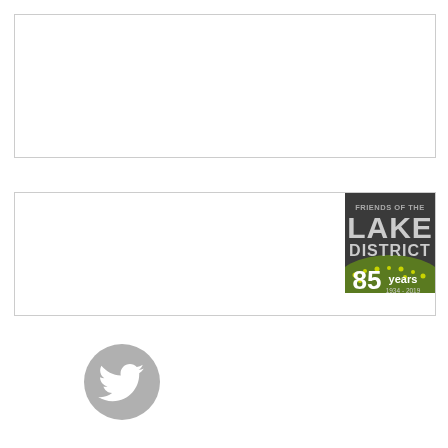[Figure (other): Empty bordered white box (top advertisement or content placeholder)]
[Figure (other): Bordered box with Friends of the Lake District 85 years (1934-2019) logo in the top-right corner]
[Figure (logo): Grey Twitter bird icon/logo]